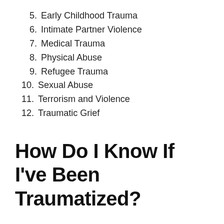5. Early Childhood Trauma
6. Intimate Partner Violence
7. Medical Trauma
8. Physical Abuse
9. Refugee Trauma
10. Sexual Abuse
11. Terrorism and Violence
12. Traumatic Grief
How Do I Know If I've Been Traumatized?
A traumatic experience disturbs a person,